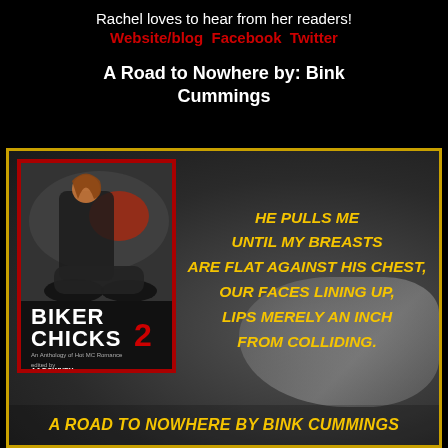Rachel loves to hear from her readers!
Website/blog  Facebook  Twitter
A Road to Nowhere by: Bink Cummings
[Figure (illustration): Promotional image for 'A Road to Nowhere by Bink Cummings' from Biker Chicks 2 anthology. Left side shows book cover with motorcycle and rider image, title BIKER CHICKS 2, An Anthology of Hot MC Romance, edited by AJ Downey. Right side shows yellow italic quote text on dark background: HE PULLS ME UNTIL MY BREASTS ARE FLAT AGAINST HIS CHEST, OUR FACES LINING UP, LIPS MERELY AN INCH FROM COLLIDING. Bottom has large yellow text: A ROAD TO NOWHERE BY BINK CUMMINGS]